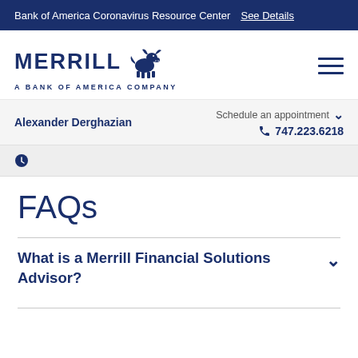Bank of America Coronavirus Resource Center  See Details
[Figure (logo): Merrill Lynch bull logo with text MERRILL A BANK OF AMERICA COMPANY]
Alexander Derghazian   Schedule an appointment   747.223.6218
FAQs
What is a Merrill Financial Solutions Advisor?